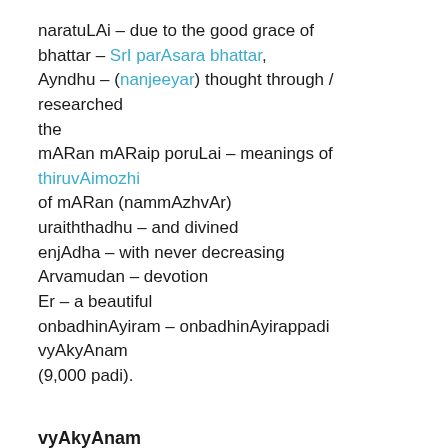naratuLAi – due to the good grace of bhattar – SrI parAsara bhattar, Ayndhu – (nanjeeyar) thought through / researched the mARan mARaip poruLai – meanings of thiruvAimozhi of mARan (nammAzhvAr) uraiththadhu – and divined enjAdha – with never decreasing Arvamudan – devotion Er – a beautiful onbadhinAyiram – onbadhinAyirappadi vyAkyAnam (9,000 padi).
vyAkyAnam
maNvALa mAmunigaL divines that, after that, by the grace of periya bhattar, nanjeeyar divined in a great way a vyAkyAnam that is half time more than